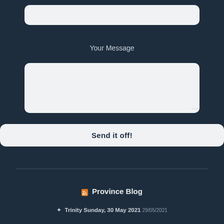[Figure (other): Empty text input field (white/light gray rounded rectangle)]
Your Message
[Figure (other): Empty textarea input field (white/light gray rounded rectangle with resize handle)]
Send it off!
Province Blog
Trinity Sunday, 30 May 2021 29/05/2021